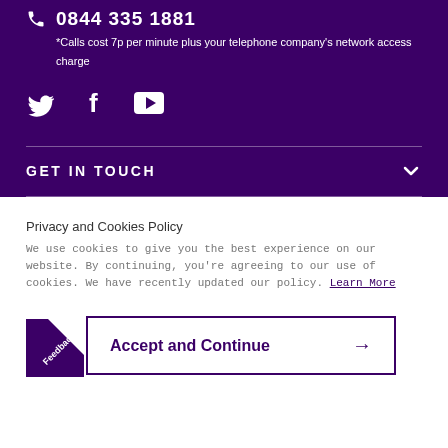0844 335 1881
*Calls cost 7p per minute plus your telephone company's network access charge
[Figure (illustration): Social media icons: Twitter bird, Facebook F, YouTube play button]
GET IN TOUCH
Privacy and Cookies Policy
We use cookies to give you the best experience on our website. By continuing, you're agreeing to our use of cookies. We have recently updated our policy. Learn More
Accept and Continue
Feedback